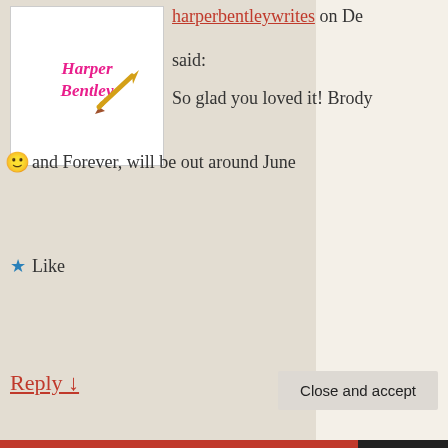[Figure (logo): Harper Bentley Writes logo - cursive pink text with a pencil graphic on white background]
harperbentleywrites on De said:
So glad you loved it! Brody 🙂 and Forever, will be out around June
★ Like
Reply ↓
[Figure (illustration): Teal and white geometric/floral pattern avatar for Danielle]
Danielle on December 8, 2
Thanks!! I'm so looking fo ws
Privacy & Cookies: This site uses cookies. By continuing to use this website, you agree to their use.
To find out more, including how to control cookies, see here:
Cookie Policy
Close and accept